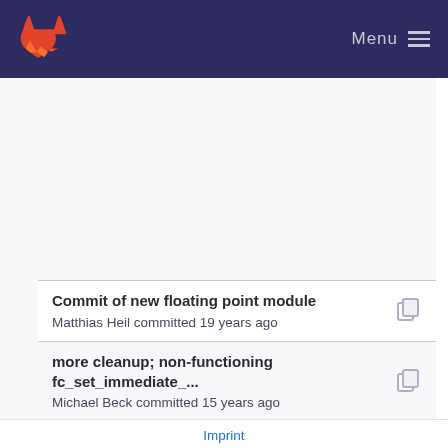Menu
Commit of new floating point module
Matthias Heil committed 19 years ago
more cleanup; non-functioning fc_set_immediate_...
Michael Beck committed 15 years ago
Commit of new floating point module
Matthias Heil committed 19 years ago
Cleaned up the tarval handling:
Michael Beck committed 15 years ago
Commit of new floating point module
Matthias Heil committed 19 years ago
Cleaned up the tarval handling:
Imprint